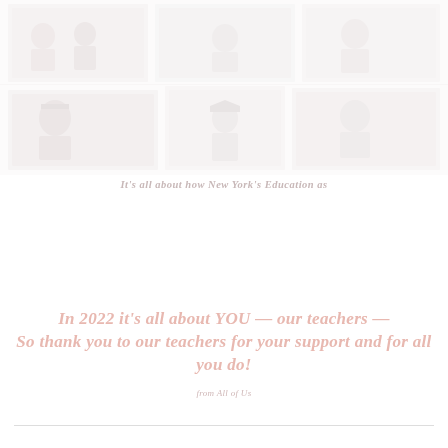[Figure (photo): Photo collage at top of page showing multiple faded/washed-out photographs of people (graduates or students), arranged in a grid-like montage, very light/faded appearance]
It's all about how New York's Education as
In 2022 it's all about YOU — our teachers — So thank you to our teachers for your support and for all you do!
from All of Us